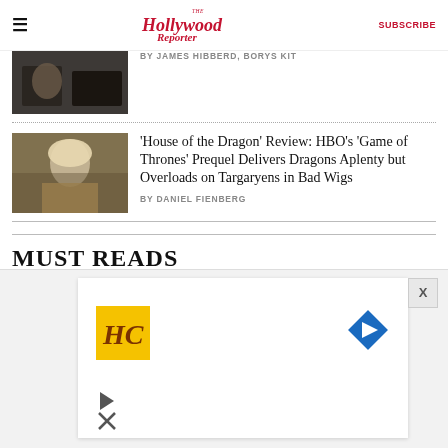The Hollywood Reporter | SUBSCRIBE
BY JAMES HIBBERD, BORYS KIT
'House of the Dragon' Review: HBO's 'Game of Thrones' Prequel Delivers Dragons Aplenty but Overloads on Targaryens in Bad Wigs
BY DANIEL FIENBERG
MUST READS
[Figure (photo): Outdoor scene with green foliage/trees]
[Figure (infographic): Advertisement overlay with HC logo (gold/brown), navigation arrow icon, play and X icons]